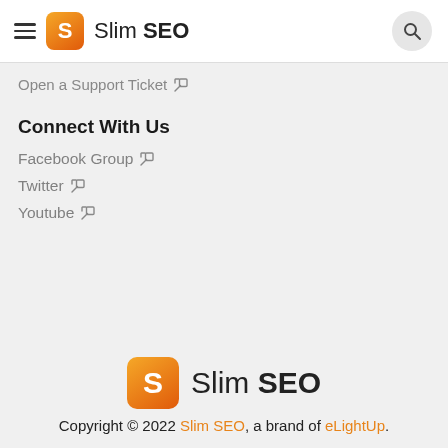Slim SEO
Open a Support Ticket
Connect With Us
Facebook Group
Twitter
Youtube
Copyright © 2022 Slim SEO, a brand of eLightUp.